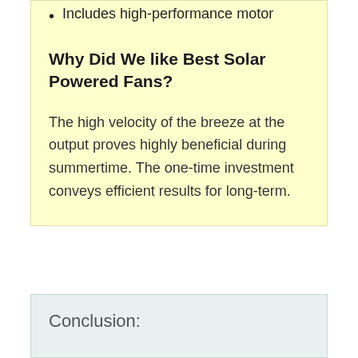Includes high-performance motor
Why Did We like Best Solar Powered Fans?
The high velocity of the breeze at the output proves highly beneficial during summertime. The one-time investment conveys efficient results for long-term.
Conclusion: